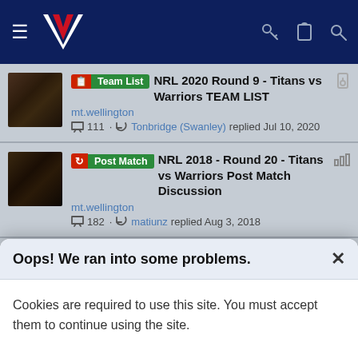NZ Warriors forum navigation bar
Team List - NRL 2020 Round 9 - Titans vs Warriors TEAM LIST | mt.wellington | 111 replies | Tonbridge (Swanley) replied Jul 10, 2020
Post Match - NRL 2018 - Round 20 - Titans vs Warriors Post Match Discussion | mt.wellington | 182 replies | matiunz replied Aug 3, 2018
Post Match - [Round 25, 2021] - Titans vs Warriors Post Match Discussion | mt.wellington
Oops! We ran into some problems.
Cookies are required to use this site. You must accept them to continue using the site.